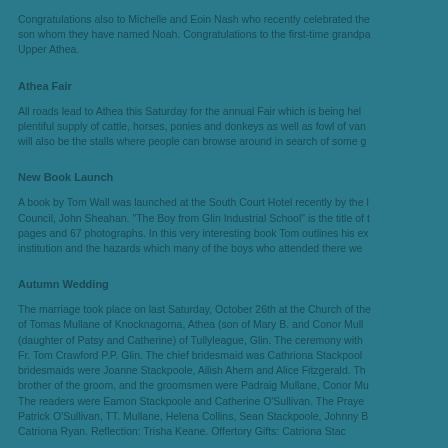Congratulations also to Michelle and Eoin Nash who recently celebrated the birth of a son whom they have named Noah. Congratulations to the first-time grandparents of Upper Athea.
Athea Fair
All roads lead to Athea this Saturday for the annual Fair which is being held. There is a plentiful supply of cattle, horses, ponies and donkeys as well as fowl of various kinds. There will also be the stalls where people can browse around in search of some good bargains.
New Book Launch
A book by Tom Wall was launched at the South Court Hotel recently by the Limerick City Council, John Sheahan. "The Boy from Glin Industrial School" is the title of the book with pages and 67 photographs. In this very interesting book Tom outlines his experiences in the institution and the hazards which many of the boys who attended there were subjected to.
Autumn Wedding
The marriage took place on last Saturday, October 26th at the Church of the Assumption of Tomas Mullane of Knocknagorna, Athea (son of Mary B. and Conor Mullane) and (daughter of Patsy and Catherine) of Tullyleague, Glin. The ceremony with was performed by Fr. Tom Crawford P.P. Glin. The chief bridesmaid was Cathriona Stackpoole and the bridesmaids were Joanne Stackpoole, Ailish Ahern and Alice Fitzgerald. The best man was brother of the groom, and the groomsmen were Padraig Mullane, Conor Mullane. The readers were Eamon Stackpoole and Catherine O'Sullivan. The Prayer of the Faithful: Patrick O'Sullivan, TT. Mullane, Helena Collins, Sean Stackpoole, Johnny B. Catriona Ryan. Reflection: Trisha Keane. Offertory Gifts: Catriona Stac